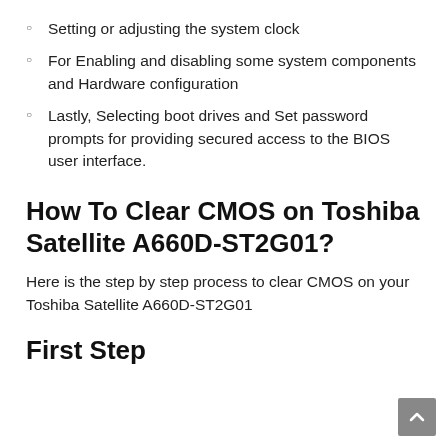Setting or adjusting the system clock
For Enabling and disabling some system components and Hardware configuration
Lastly, Selecting boot drives and Set password prompts for providing secured access to the BIOS user interface.
How To Clear CMOS on Toshiba Satellite A660D-ST2G01?
Here is the step by step process to clear CMOS on your Toshiba Satellite A660D-ST2G01
First Step